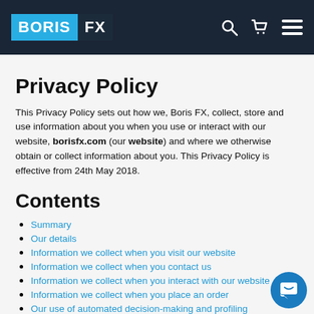BORIS FX [navigation bar with logo, search, cart, menu icons]
Privacy Policy
This Privacy Policy sets out how we, Boris FX, collect, store and use information about you when you use or interact with our website, borisfx.com (our website) and where we otherwise obtain or collect information about you. This Privacy Policy is effective from 24th May 2018.
Contents
Summary
Our details
Information we collect when you visit our website
Information we collect when you contact us
Information we collect when you interact with our website
Information we collect when you place an order
Our use of automated decision-making and profiling
How we collect or obtain information about you from third parties
Disclosure and additional uses of your information
How long we retain your information